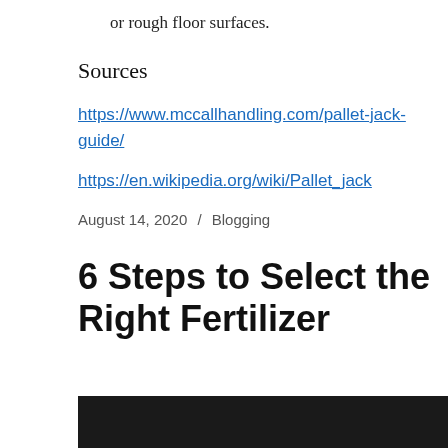or rough floor surfaces.
Sources
https://www.mccallhandling.com/pallet-jack-guide/
https://en.wikipedia.org/wiki/Pallet_jack
August 14, 2020 / Blogging
6 Steps to Select the Right Fertilizer
[Figure (photo): Dark image strip at bottom of page, appears to be a partial photo]